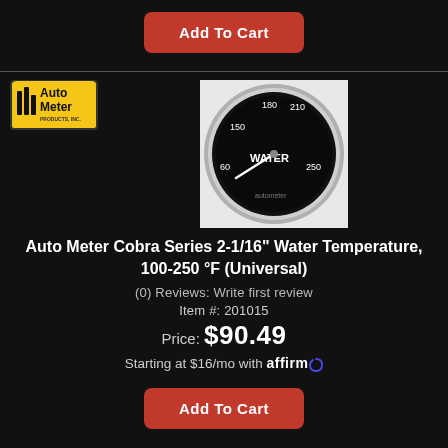[Figure (other): Red 'Add To Cart' button at top of page]
[Figure (logo): Auto Meter brand logo in yellow/black]
[Figure (photo): Auto Meter Cobra Series water temperature gauge, circular, chrome bezel, black face, white needle pointing left]
Auto Meter Cobra Series 2-1/16" Water Temperature, 100-250 °F (Universal)
(0) Reviews: Write first review
Item #: 201015
Price: $90.49
Starting at $16/mo with affirm
[Figure (other): Red 'Add To Cart' button at bottom of page]